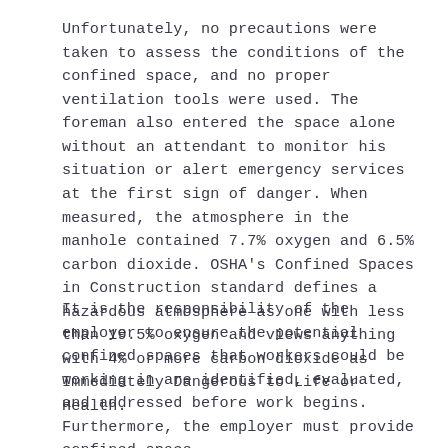Unfortunately, no precautions were taken to assess the conditions of the confined space, and no proper ventilation tools were used. The foreman also entered the space alone without an attendant to monitor his situation or alert emergency services at the first sign of danger. When measured, the atmosphere in the manhole contained 7.7% oxygen and 6.5% carbon dioxide. OSHA's Confined Spaces in Construction standard defines a hazardous atmosphere as one with less than 19.5% oxygen and views anything with 4% or more carbon dioxide as Immediately Dangerous to Life or Health.
It is the responsibility of the employer to ensure the potential confined spaces that workers could be working in are identified, evaluated, and addressed before work begins. Furthermore, the employer must provide confined space